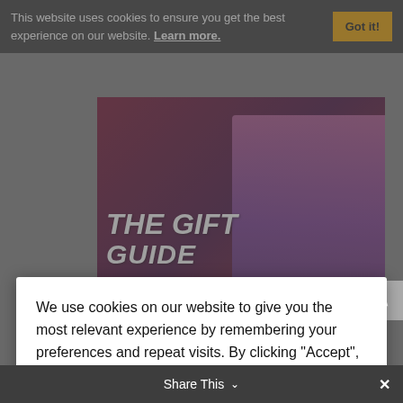This website uses cookies to ensure you get the best experience on our website. Learn more.
Got it!
[Figure (photo): Cyclist or athlete wearing purple jacket with text THE GIFT overlaid on red/dark background]
We use cookies on our website to give you the most relevant experience by remembering your preferences and repeat visits. By clicking “Accept”, you consent to the use of ALL the cookies.
Cookie settings
ACCEPT
[Figure (photo): Cyclists on mountain trail with text DRINK IN THE NEW and New colors, new styles, and redesigned favorites to help you hit the trails. SHOP NOW button]
Share This
×